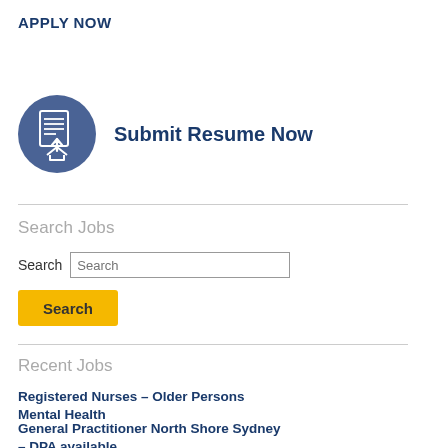APPLY NOW
[Figure (illustration): Blue circular icon with a document and upload arrow, representing resume submission]
Submit Resume Now
Search Jobs
Search [Search input box]
Search [button]
Recent Jobs
Registered Nurses – Older Persons Mental Health
General Practitioner North Shore Sydney – DPA available